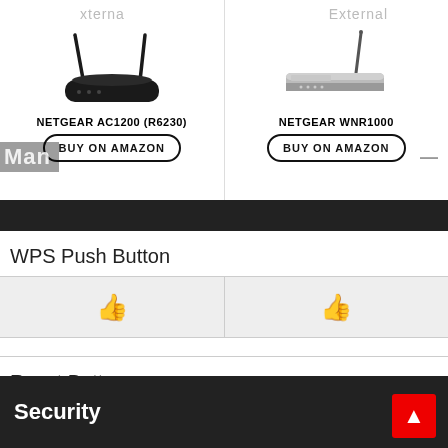[Figure (screenshot): Product comparison screenshot showing two NETGEAR routers side by side with Buy on Amazon buttons, WPS Push Button and Reset Button feature rows with thumbs up icons, and a Security section footer.]
NETGEAR AC1200 (R6230)
BUY ON AMAZON
NETGEAR WNR1000
BUY ON AMAZON
WPS Push Button
Reset Button
Security